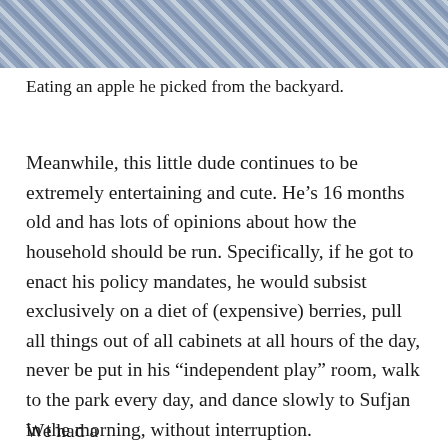[Figure (photo): Partial photo showing a person wearing a blue gingham/checkered shirt, cropped to show only the torso/shoulder area against a light background with tile visible.]
Eating an apple he picked from the backyard.
Meanwhile, this little dude continues to be extremely entertaining and cute. He’s 16 months old and has lots of opinions about how the household should be run. Specifically, if he got to enact his policy mandates, he would subsist exclusively on a diet of (expensive) berries, pull all things out of all cabinets at all hours of the day, never be put in his “independent play” room, walk to the park every day, and dance slowly to Sufjan in the morning, without interruption.
We had a great time...